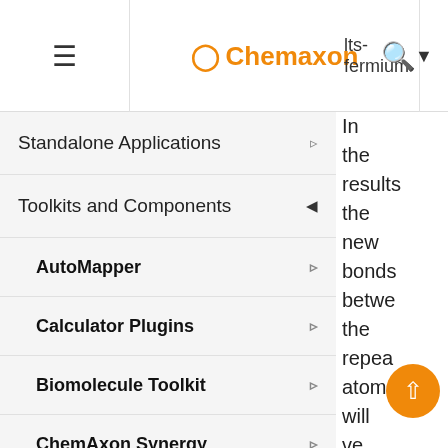≡  Chemaxon  |  lts-fermium ▾  |  🔍
Standalone Applications ▷
Toolkits and Components ◀
AutoMapper ▷
Calculator Plugins ▷
Biomolecule Toolkit ▷
ChemAxon Synergy ▷
Document to Structure ▷
JChem Base ◀
JChem Base Administration ▷
In the results the new bonds betwe the repeat atoms will ve e bond